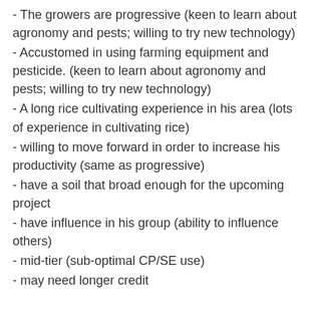- The growers are progressive (keen to learn about agronomy and pests; willing to try new technology)
- Accustomed in using farming equipment and pesticide. (keen to learn about agronomy and pests; willing to try new technology)
- A long rice cultivating experience in his area (lots of experience in cultivating rice)
- willing to move forward in order to increase his productivity (same as progressive)
- have a soil that broad enough for the upcoming project
- have influence in his group (ability to influence others)
- mid-tier (sub-optimal CP/SE use)
- may need longer credit